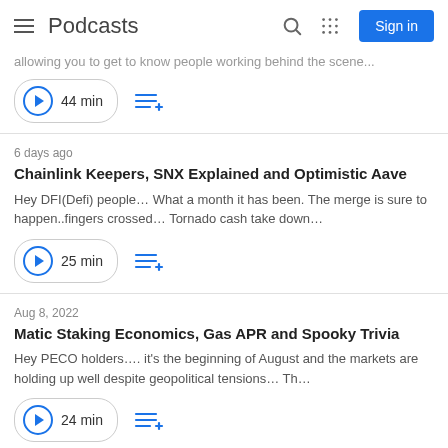Podcasts | Sign in
allowing you to get to know people working behind the scene...
44 min
6 days ago
Chainlink Keepers, SNX Explained and Optimistic Aave
Hey DFI(Defi) people... What a month it has been. The merge is sure to happen..fingers crossed... Tornado cash take down...
25 min
Aug 8, 2022
Matic Staking Economics, Gas APR and Spooky Trivia
Hey PECO holders.... it's the beginning of August and the markets are holding up well despite geopolitical tensions... Th...
24 min